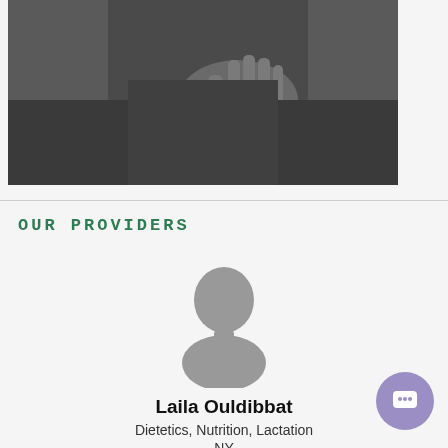[Figure (photo): Partial photo of a person in dark clothing with hand visible, dark gray background]
OUR PROVIDERS
[Figure (illustration): Generic gray silhouette avatar placeholder for provider photo]
Laila Ouldibbat
Dietetics, Nutrition, Lactation
NY
Verified